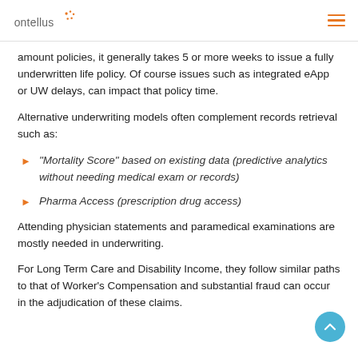ontellus
amount policies, it generally takes 5 or more weeks to issue a fully underwritten life policy. Of course issues such as integrated eApp or UW delays, can impact that policy time.
Alternative underwriting models often complement records retrieval such as:
“Mortality Score” based on existing data (predictive analytics without needing medical exam or records)
Pharma Access (prescription drug access)
Attending physician statements and paramedical examinations are mostly needed in underwriting.
For Long Term Care and Disability Income, they follow similar paths to that of Worker’s Compensation and substantial fraud can occur in the adjudication of these claims.